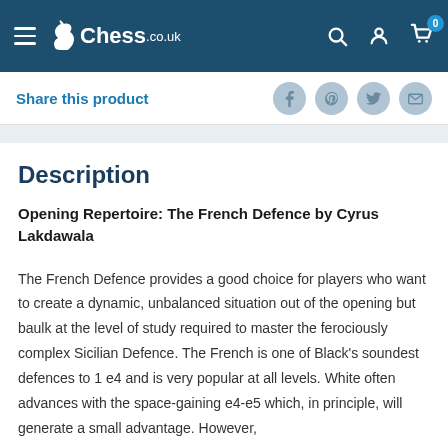Chess.co.uk navigation bar
Share this product
Description
Opening Repertoire: The French Defence by Cyrus Lakdawala
The French Defence provides a good choice for players who want to create a dynamic, unbalanced situation out of the opening but baulk at the level of study required to master the ferociously complex Sicilian Defence. The French is one of Black's soundest defences to 1 e4 and is very popular at all levels. White often advances with the space-gaining e4-e5 which, in principle, will generate a small advantage. However,